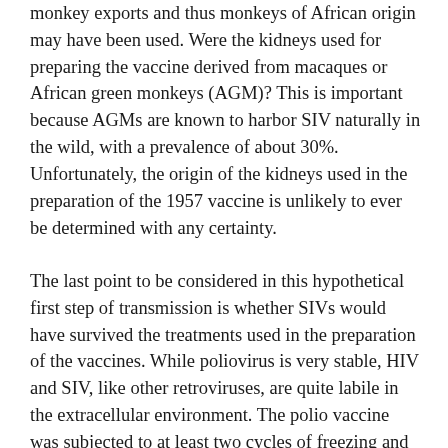monkey exports and thus monkeys of African origin may have been used. Were the kidneys used for preparing the vaccine derived from macaques or African green monkeys (AGM)? This is important because AGMs are known to harbor SIV naturally in the wild, with a prevalence of about 30%. Unfortunately, the origin of the kidneys used in the preparation of the 1957 vaccine is unlikely to ever be determined with any certainty.
The last point to be considered in this hypothetical first step of transmission is whether SIVs would have survived the treatments used in the preparation of the vaccines. While poliovirus is very stable, HIV and SIV, like other retroviruses, are quite labile in the extracellular environment. The polio vaccine was subjected to at least two cycles of freezing and thawing (Wistar Institute protocols), a procedure known to cause significant loss of SIV and HIV